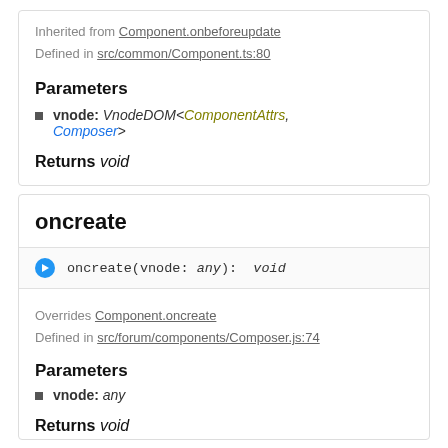Inherited from Component.onbeforeupdate
Defined in src/common/Component.ts:80
Parameters
vnode: VnodeDOM<ComponentAttrs, Composer>
Returns void
oncreate
oncreate(vnode: any): void
Overrides Component.oncreate
Defined in src/forum/components/Composer.js:74
Parameters
vnode: any
Returns void